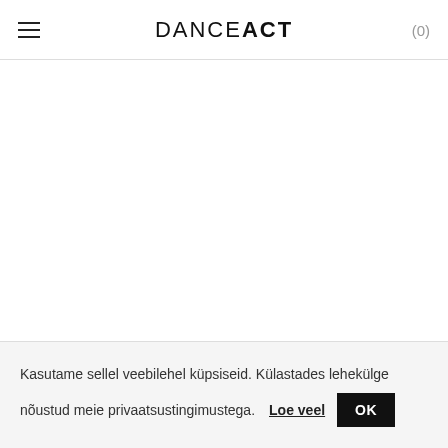DANCE ACT (0)
Kasutame sellel veebilehel küpsiseid. Külastades lehekülge nõustud meie privaatsustingimustega. Loe veel OK